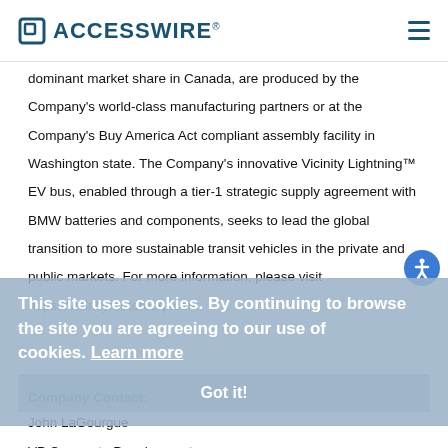ACCESSWIRE
dominant market share in Canada, are produced by the Company's world-class manufacturing partners or at the Company's Buy America Act compliant assembly facility in Washington state. The Company's innovative Vicinity Lightning™ EV bus, enabled through a tier-1 strategic supply agreement with BMW batteries and components, seeks to lead the global transition to more sustainable transit vehicles in the private and public markets. For more information, please visit https://vicinitymotorcorp.com.
This site uses cookies. By continuing to browse the site you are agreeing to our use of cookies. Learn more
Got it!
Company Contact:
John LaGourgue
VP Corporate Development